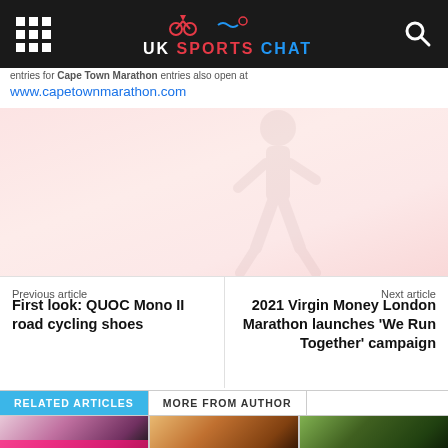UK SPORTS CHAT
www.capetownmarathon.com
[Figure (photo): Faded runner silhouette background image in pink/red tones]
Previous article
First look: QUOC Mono II road cycling shoes
Next article
2021 Virgin Money London Marathon launches 'We Run Together' campaign
RELATED ARTICLES
MORE FROM AUTHOR
[Figure (photo): Runner crossing finish line with arms raised, pink finish banner]
[Figure (photo): Large crowd of runners at race event]
[Figure (photo): Female runner celebrating with arms raised outdoors]